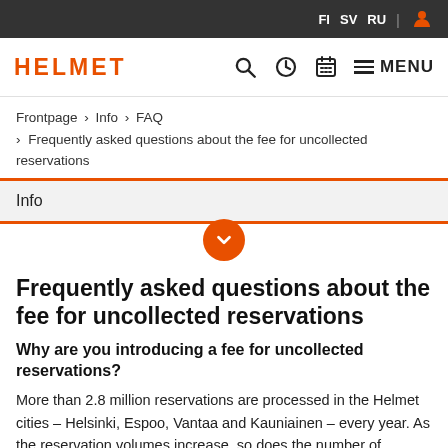FI  SV  RU  [user icon]
HELMET  [search] [clock] [calendar] [menu] MENU
Frontpage › Info › FAQ › Frequently asked questions about the fee for uncollected reservations
Info
Frequently asked questions about the fee for uncollected reservations
Why are you introducing a fee for uncollected reservations?
More than 2.8 million reservations are processed in the Helmet cities – Helsinki, Espoo, Vantaa and Kauniainen – every year. As the reservation volumes increase, so does the number of reservations that no one picks up from the libraries in the Helmet cities. At the moment, for reservations